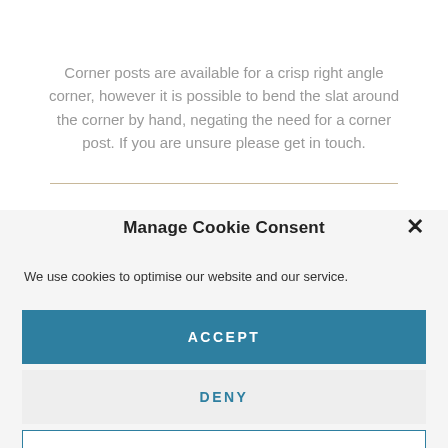Corner posts are available for a crisp right angle corner, however it is possible to bend the slat around the corner by hand, negating the need for a corner post. If you are unsure please get in touch.
Manage Cookie Consent
We use cookies to optimise our website and our service.
ACCEPT
DENY
PREFERENCES